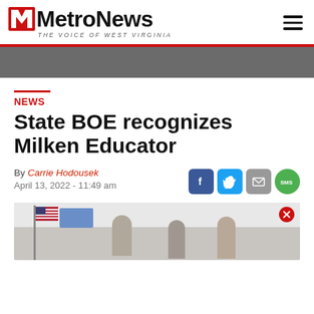MetroNews — THE VOICE OF WEST VIRGINIA
NEWS
State BOE recognizes Milken Educator
By Carrie Hodousek
April 13, 2022 - 11:49 am
[Figure (photo): Photograph showing people in a classroom or meeting room setting with an American flag visible on the left side.]